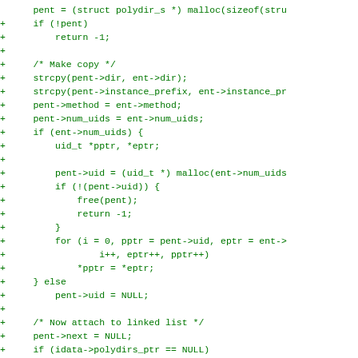Code diff showing additions to a C function for copying and linking polydir entries, including memory allocation, uid copying, and linked list attachment.